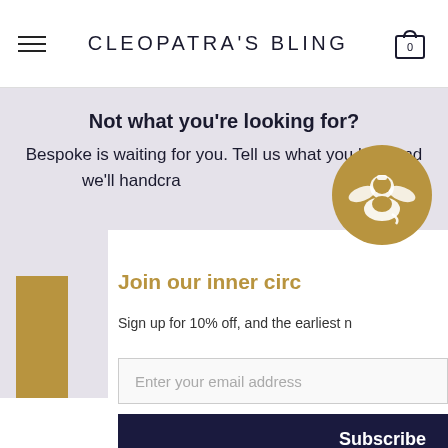CLEOPATRA'S BLING
Not what you're looking for?
Bespoke is waiting for you. Tell us what you love and we'll handcra...
[Figure (logo): Gold circular logo with winged griffin/sphinx emblem for Cleopatra's Bling]
Join our inner circ...
Sign up for 10% off, and the earliest n...
Enter your email address
Subscribe